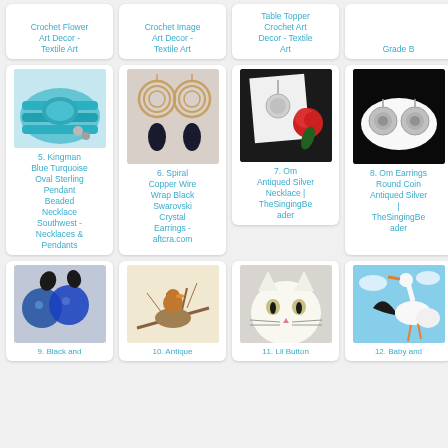Crochet Flower Art Decor - Textile Art
Crochet Image Art Decor - Textile Art
Table Topper Crochet Art Decor - Textile Art
Grade B
[Figure (photo): Turquoise beaded necklace with oval pendant]
5. Kingman Blue Turquoise Oval Sterling Pendant Beaded Necklace Southwest - Necklaces & Pendants
[Figure (photo): Spiral copper wire wrap black crystal earrings]
6. Spiral Copper Wire Wrap Black Swarovski Crystal Earrings - aftcra.com
[Figure (photo): Om antiqued silver necklace with red rose]
7. Om Antiqued Silver Necklace | TheSingingBeader
[Figure (photo): Om earrings round coin antiqued silver on lace doily]
8. Om Earrings Round Coin Antiqued Silver | TheSingingBeader
[Figure (photo): Black and blue glass earrings]
9. Black and
[Figure (photo): Antique illustration of bird on nest]
10. Antique
[Figure (photo): White fluffy cat face close up]
11. Lil Button
[Figure (photo): Baby and stork vintage postcard]
12. Baby and